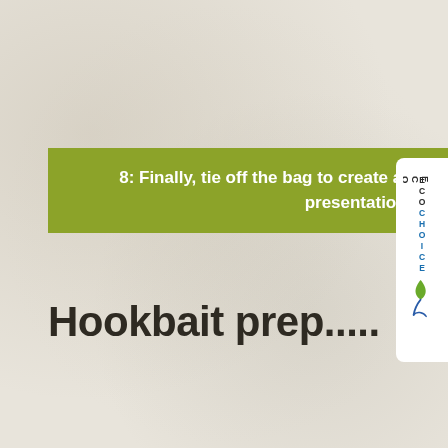8: Finally, tie off the bag to create a double bagged meshed presentation.
Hookbait prep.....
[Figure (logo): EcoChoice vertical logo tab on right edge with green leaf and fish icon]